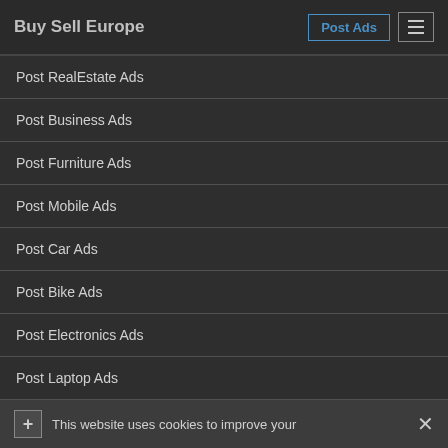Buy Sell Europe
Post RealEstate Ads
Post Business Ads
Post Furniture Ads
Post Mobile Ads
Post Car Ads
Post Bike Ads
Post Electronics Ads
Post Laptop Ads
Quick Links
This website uses cookies to improve your